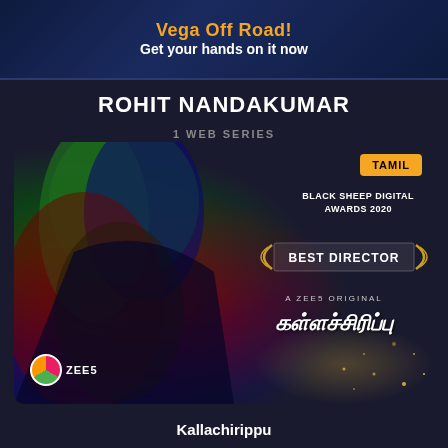[Figure (infographic): Advertisement banner for Vega Off Road with dark blue background]
Vega Off Road!
Get your hands on it now
ROHIT NANDAKUMAR
1 WEB SERIES
[Figure (photo): ZEE5 web series Kallachirippu promotional image showing a woman with red, green and blue lighting, Black Sheep Digital Awards 2020 Best Director badge, Tamil language badge, ZEE5 original label]
Kallachirippu